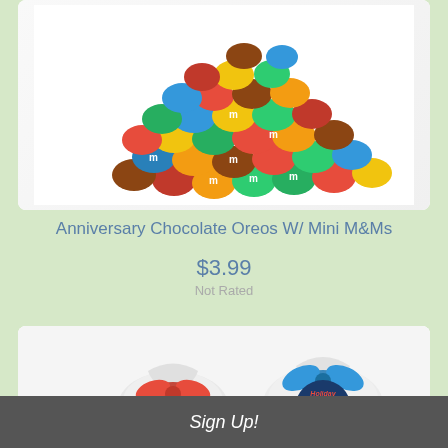[Figure (photo): Pile of colorful M&M candies mixed with chocolate Oreos, showing red, yellow, green, blue, orange, and brown M&Ms on a white background]
Anniversary Chocolate Oreos W/ Mini M&Ms
$3.99
Not Rated
[Figure (photo): Two small clear gift bags tied with ribbons — one with a red ribbon and one with a blue ribbon and a circular tag reading 'Holiday Greetings From Our Family To You']
Sign Up!